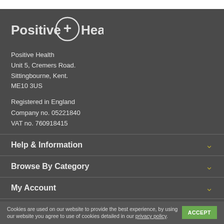[Figure (logo): Positive Health logo with cross symbol in circle between 'Positive' and 'Health' text]
Positive Health
Unit 5, Cremers Road.
Sittingbourne, Kent.
ME10 3US
Registered in England
Company no. 05221840
VAT no. 760918415
Help & Information
Browse By Category
My Account
Cookies are used on our website to provide the best experience, by using our website you agree to use of cookies detailed in our privacy policy.